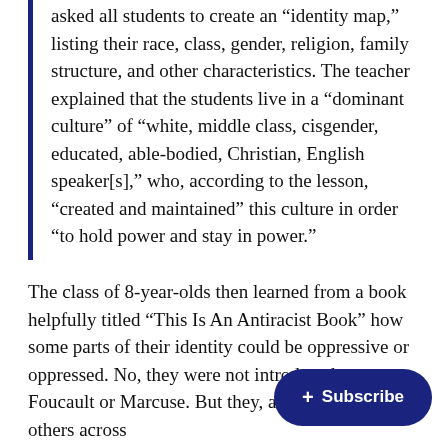asked all students to create an “identity map,” listing their race, class, gender, religion, family structure, and other characteristics. The teacher explained that the students live in a “dominant culture” of “white, middle class, cisgender, educated, able-bodied, Christian, English speaker[s],” who, according to the lesson, “created and maintained” this culture in order “to hold power and stay in power.”
The class of 8-year-olds then learned from a book helpfully titled “This Is An Antiracist Book” how some parts of their identity could be oppressive or oppressed. No, they were not introduced to Foucault or Marcuse. But they, and countless others across especially in the past year, are being world through a neo-Marxian lens of identity group